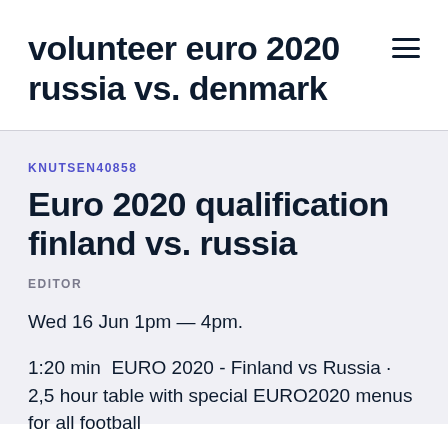volunteer euro 2020 russia vs. denmark
KNUTSEN40858
Euro 2020 qualification finland vs. russia
EDITOR
Wed 16 Jun 1pm — 4pm.
1:20 min  EURO 2020 - Finland vs Russia · 2,5 hour table with special EURO2020 menus for all football